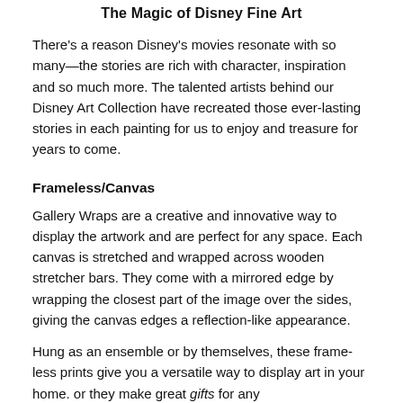The Magic of Disney Fine Art
There's a reason Disney's movies resonate with so many—the stories are rich with character, inspiration and so much more. The talented artists behind our Disney Art Collection have recreated those ever-lasting stories in each painting for us to enjoy and treasure for years to come.
Frameless/Canvas
Gallery Wraps are a creative and innovative way to display the artwork and are perfect for any space. Each canvas is stretched and wrapped across wooden stretcher bars. They come with a mirrored edge by wrapping the closest part of the image over the sides, giving the canvas edges a reflection-like appearance.
Hung as an ensemble or by themselves, these frame-less prints give you a versatile way to display art in your home. or they make great gifts for any
Features